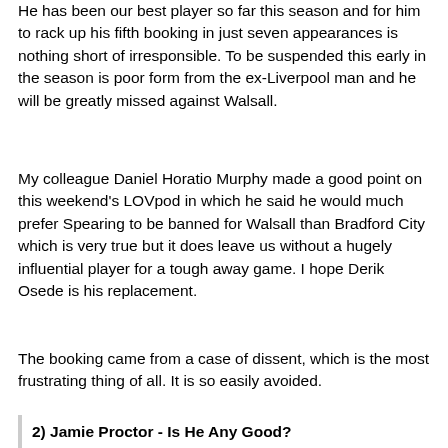He has been our best player so far this season and for him to rack up his fifth booking in just seven appearances is nothing short of irresponsible. To be suspended this early in the season is poor form from the ex-Liverpool man and he will be greatly missed against Walsall.
My colleague Daniel Horatio Murphy made a good point on this weekend's LOVpod in which he said he would much prefer Spearing to be banned for Walsall than Bradford City which is very true but it does leave us without a hugely influential player for a tough away game. I hope Derik Osede is his replacement.
The booking came from a case of dissent, which is the most frustrating thing of all. It is so easily avoided.
2) Jamie Proctor - Is He Any Good?